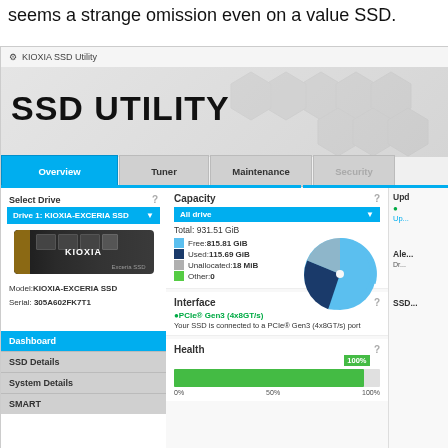seems a strange omission even on a value SSD.
[Figure (screenshot): KIOXIA SSD Utility application screenshot showing SSD UTILITY dashboard with Overview, Tuner, Maintenance, Security tabs. Left panel shows Select Drive with Drive 1: KIOXIA-EXCERIA SSD selected, image of M.2 SSD, Model: KIOXIA-EXCERIA SSD, Serial: 305A602FK7T1, Dashboard/SSD Details/System Details/SMART navigation. Right panel shows Capacity section (All drive, Total: 931.51 GiB, Free: 815.81 GiB, Used: 115.69 GiB, Unallocated: 18 MiB, Other: 0) with pie chart, Interface section (PCIe Gen3 4x8GT/s), Health section with green bar at 100%.]